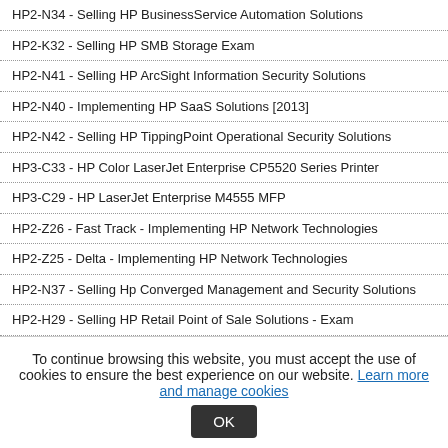HP2-N34 - Selling HP BusinessService Automation Solutions
HP2-K32 - Selling HP SMB Storage Exam
HP2-N41 - Selling HP ArcSight Information Security Solutions
HP2-N40 - Implementing HP SaaS Solutions [2013]
HP2-N42 - Selling HP TippingPoint Operational Security Solutions
HP3-C33 - HP Color LaserJet Enterprise CP5520 Series Printer
HP3-C29 - HP LaserJet Enterprise M4555 MFP
HP2-Z26 - Fast Track - Implementing HP Network Technologies
HP2-Z25 - Delta - Implementing HP Network Technologies
HP2-N37 - Selling Hp Converged Management and Security Solutions
HP2-H29 - Selling HP Retail Point of Sale Solutions - Exam
HP2-B105 - Selling HP DesignJet Production Printing
HP2-K36 - Support and Service HP StoreVirtual Solutions
HP2-E58 - Selling HP Converged Infrastructure Solutions Exam
To continue browsing this website, you must accept the use of cookies to ensure the best experience on our website. Learn more and manage cookies OK